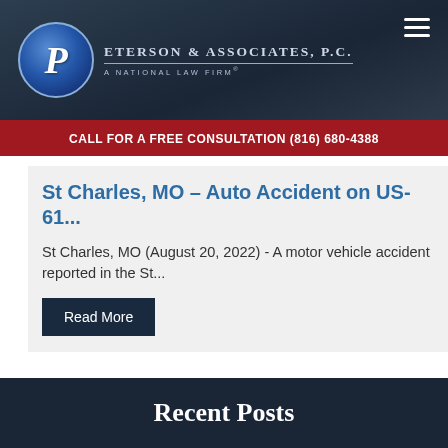[Figure (logo): Peterson & Associates P.C. logo with globe and stylized P, national law firm]
CALL FOR A FREE CONSULTATION (816) 680-4388
St Charles, MO – Auto Accident on US-61...
St Charles, MO (August 20, 2022) - A motor vehicle accident reported in the St...
Read More
Recent Posts